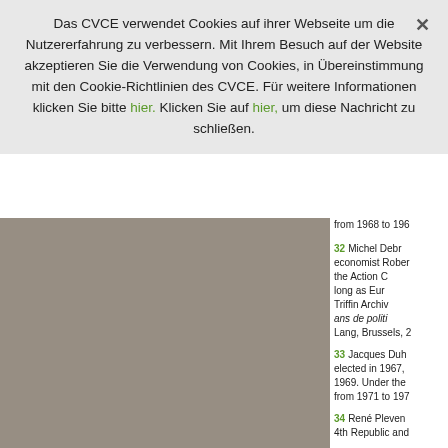Das CVCE verwendet Cookies auf ihrer Webseite um die Nutzererfahrung zu verbessern. Mit Ihrem Besuch auf der Website akzeptieren Sie die Verwendung von Cookies, in Übereinstimmung mit den Cookie-Richtlinien des CVCE. Für weitere Informationen klicken Sie bitte hier. Klicken Sie auf hier, um diese Nachricht zu schließen.
[Figure (photo): Gray/taupe colored image area on the left side of the page below the cookie banner]
from 1968 to 196...
32  Michel Debr... economist Rober... the Action C... long as Eur... Triffin Archiv... ans de politi... Lang, Brussels, 2...
33  Jacques Duh... elected in 1967,... 1969. Under the... from 1971 to 197...
34  René Pleven... 4th Republic and...